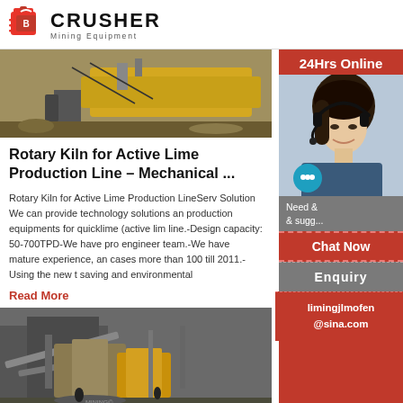[Figure (logo): Crusher Mining Equipment logo with red shopping bag icon and bold CRUSHER text]
[Figure (photo): Mining equipment / rotary kiln machinery photograph, yellow industrial equipment]
Rotary Kiln for Active Lime Production Line – Mechanical ...
Rotary Kiln for Active Lime Production LineServ Solution We can provide technology solutions an production equipments for quicklime (active lim line.-Design capacity: 50-700TPD-We have pro engineer team.-We have mature experience, an cases more than 100 till 2011.-Using the new t saving and environmental
Read More
[Figure (photo): Construction / mining site photograph showing machinery and workers]
[Figure (photo): Sidebar: 24Hrs Online customer service representative with headset photo, chat now button, enquiry section, email limingjlmofen@sina.com]